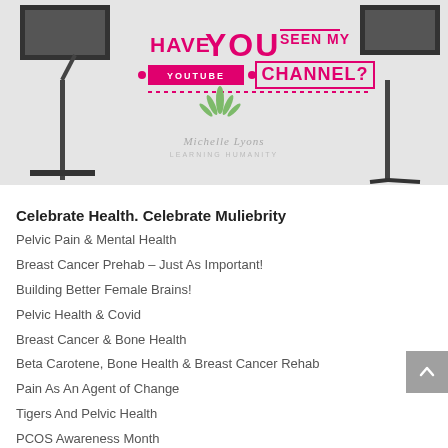[Figure (photo): Promotional banner image showing studio lighting equipment on both sides with pink/magenta text overlay reading 'HAVE YOU SEEN MY YOUTUBE CHANNEL?' and Michelle Lyons Learning Humanity logo in the center]
Celebrate Health. Celebrate Muliebrity
Pelvic Pain & Mental Health
Breast Cancer Prehab – Just As Important!
Building Better Female Brains!
Pelvic Health & Covid
Breast Cancer & Bone Health
Beta Carotene, Bone Health & Breast Cancer Rehab
Pain As An Agent of Change
Tigers And Pelvic Health
PCOS Awareness Month